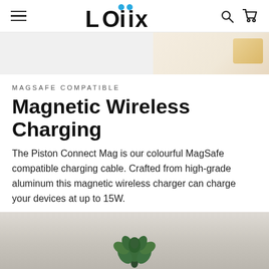LOGIIX — navigation bar with hamburger menu, logo, search and cart icons
[Figure (photo): Partial product images strip — left half shows a white/light grey product background, right portion shows a warm-toned product image]
MAGSAFE COMPATIBLE
Magnetic Wireless Charging
The Piston Connect Mag is our colourful MagSafe compatible charging cable. Crafted from high-grade aluminum this magnetic wireless charger can charge your devices at up to 15W.
[Figure (photo): Bottom portion of a product lifestyle photo showing a small green succulent plant on a white marble surface]